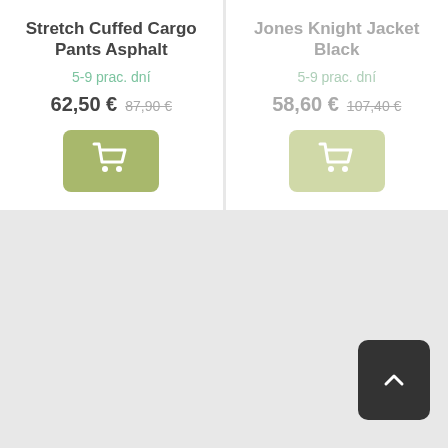Stretch Cuffed Cargo Pants Asphalt
5-9 prac. dní
62,50 € 87,90 €
[Figure (other): Green add-to-cart button with shopping cart icon]
Jones Knight Jacket Black
5-9 prac. dní
58,60 € 107,40 €
[Figure (other): Faded green add-to-cart button with shopping cart icon]
[Figure (other): Dark scroll-to-top button with upward chevron arrow]